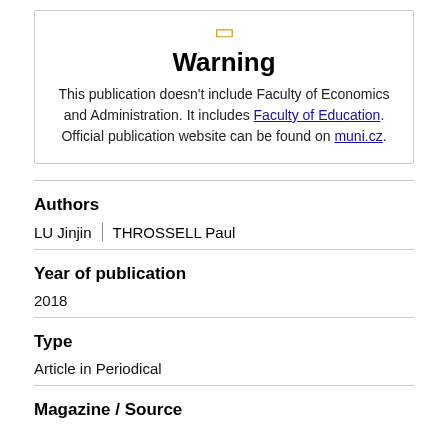[Figure (other): Warning icon (exclamation mark in a box, yellow/gold color)]
Warning
This publication doesn't include Faculty of Economics and Administration. It includes Faculty of Education. Official publication website can be found on muni.cz.
Authors
LU Jinjin  THROSSELL Paul
Year of publication
2018
Type
Article in Periodical
Magazine / Source